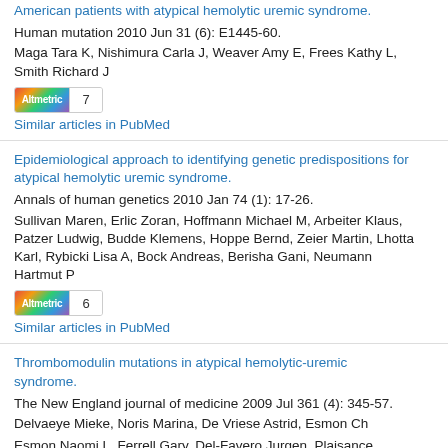American patients with atypical hemolytic uremic syndrome. Human mutation 2010 Jun 31 (6): E1445-60.
Maga Tara K, Nishimura Carla J, Weaver Amy E, Frees Kathy L, Smith Richard J
Altmetric 7
Similar articles in PubMed
Epidemiological approach to identifying genetic predispositions for atypical hemolytic uremic syndrome.
Annals of human genetics 2010 Jan 74 (1): 17-26.
Sullivan Maren, Erlic Zoran, Hoffmann Michael M, Arbeiter Klaus, Patzer Ludwig, Budde Klemens, Hoppe Bernd, Zeier Martin, Lhotta Karl, Rybicki Lisa A, Bock Andreas, Berisha Gani, Neumann Hartmut P
Altmetric 6
Similar articles in PubMed
Thrombomodulin mutations in atypical hemolytic-uremic syndrome.
The New England journal of medicine 2009 Jul 361 (4): 345-57.
Delvaeye Mieke, Noris Marina, De Vriese Astrid, Esmon Ch... Esmon Naomi L, Ferrell Gary, Del-Favero Jurgen, Plaisance Stephane, Claes Bart, Lambrechts Diether, Zoja Carla, Remuzzi...